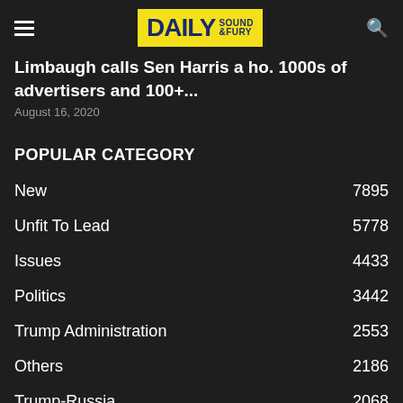Daily Sound & Fury
Limbaugh calls Sen Harris a ho. 1000s of advertisers and 100+...
August 16, 2020
POPULAR CATEGORY
New 7895
Unfit To Lead 5778
Issues 4433
Politics 3442
Trump Administration 2553
Others 2186
Trump-Russia 2068
Trump Supporters 1853